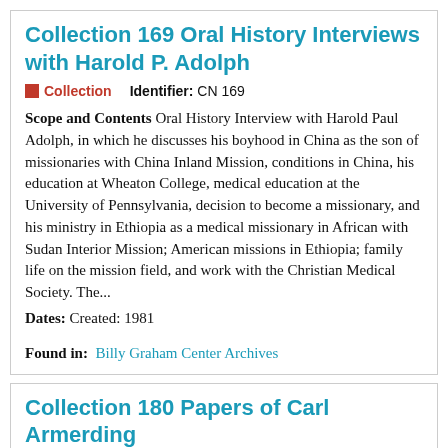Collection 169 Oral History Interviews with Harold P. Adolph
Collection   Identifier: CN 169
Scope and Contents Oral History Interview with Harold Paul Adolph, in which he discusses his boyhood in China as the son of missionaries with China Inland Mission, conditions in China, his education at Wheaton College, medical education at the University of Pennsylvania, decision to become a missionary, and his ministry in Ethiopia as a medical missionary in African with Sudan Interior Mission; American missions in Ethiopia; family life on the mission field, and work with the Christian Medical Society. The...
Dates: Created: 1981
Found in: Billy Graham Center Archives
Collection 180 Papers of Carl Armerding
Collection   Identifier: CN 180
Scope and Contents Bi...